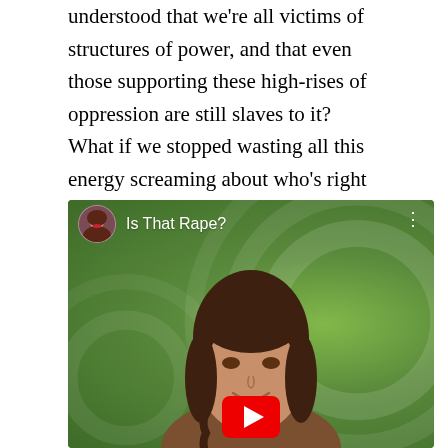understood that we're all victims of structures of power, and that even those supporting these high-rises of oppression are still slaves to it? What if we stopped wasting all this energy screaming about who's right and instead worked towards a greater understanding of what's to be done?
[Figure (screenshot): YouTube video thumbnail showing a woman with brown hair and a green background with decorative swirl patterns. The video title reads 'Is That Rape?' with a small circular avatar of a woman with red lips in the top-left corner. A YouTube play button is visible at the bottom center.]